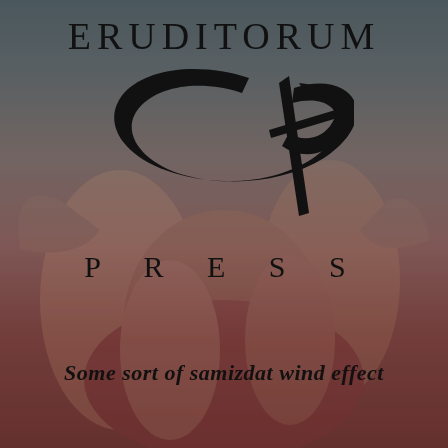[Figure (logo): Eruditorum Press logo: text 'ERUDITORUM' at top, stylized cursive 'ep' monogram in the center, 'PRESS' below in spaced capitals, all overlaid on a muted reddish-brown background with a classical painting faintly visible]
ERUDITORUM
PRESS
Some sort of samizdat wind effect